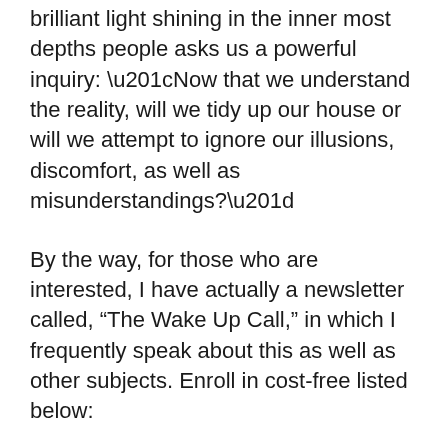brilliant light shining in the inner most depths people asks us a powerful inquiry: “Now that we understand the reality, will we tidy up our house or will we attempt to ignore our illusions, discomfort, as well as misunderstandings?”
By the way, for those who are interested, I have actually a newsletter called, “The Wake Up Call,” in which I frequently speak about this as well as other subjects. Enroll in cost-free listed below:
If you are beginning on the spiritual path or seem like you have obtained a little lost, my book may be able to assist guide you: